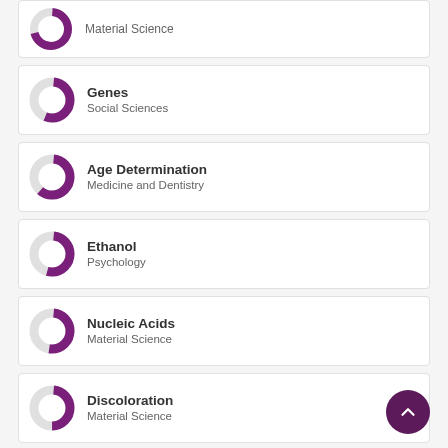[Figure (donut-chart): Partial donut chart cut off at top]
Genes
Social Sciences
Age Determination
Medicine and Dentistry
Ethanol
Psychology
Nucleic Acids
Material Science
Discoloration
Material Science
DNA
Agricultural and Biological Sciences